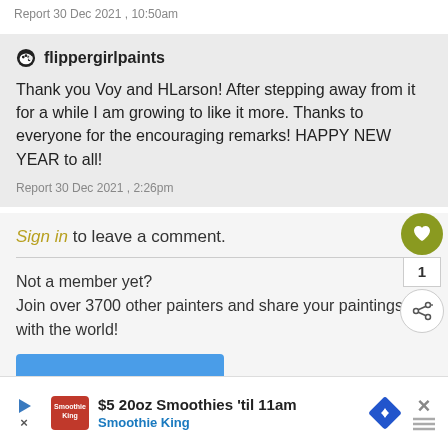Report  30 Dec 2021 , 10:50am
flippergirlpaints
Thank you Voy and HLarson! After stepping away from it for a while I am growing to like it more. Thanks to everyone for the encouraging remarks! HAPPY NEW YEAR to all!
Report  30 Dec 2021 , 2:26pm
Sign in to leave a comment.
Not a member yet?
Join over 3700 other painters and share your paintings with the world!
[Figure (other): Advertisement banner: $5 20oz Smoothies 'til 11am - Smoothie King, with navigation icon and close button]